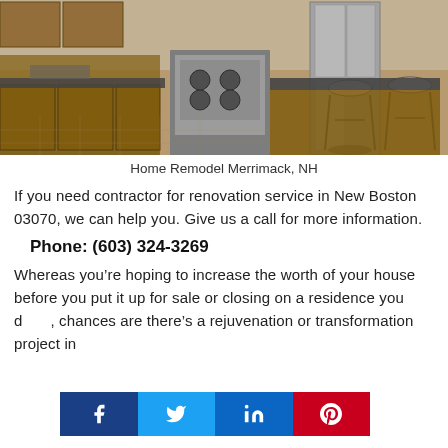[Figure (photo): Kitchen remodel photo showing wooden cabinets, stainless steel appliances, granite countertops, and bar stools at a kitchen island.]
Home Remodel Merrimack, NH
If you need contractor for renovation service in New Boston 03070, we can help you. Give us a call for more information.
Phone: (603) 324-3269
Whereas you’re hoping to increase the worth of your house before you put it up for sale or closing on a residence you d[own, chances are there’s a rejuvenation or transformation project in...